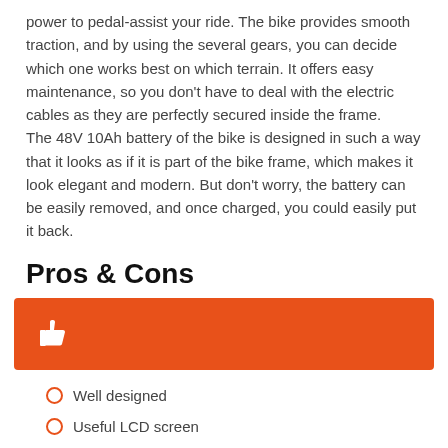power to pedal-assist your ride. The bike provides smooth traction, and by using the several gears, you can decide which one works best on which terrain. It offers easy maintenance, so you don't have to deal with the electric cables as they are perfectly secured inside the frame.
The 48V 10Ah battery of the bike is designed in such a way that it looks as if it is part of the bike frame, which makes it look elegant and modern. But don't worry, the battery can be easily removed, and once charged, you could easily put it back.
Pros & Cons
[Figure (infographic): Orange banner with a white thumbs-up icon]
Well designed
Useful LCD screen
Superior electric components